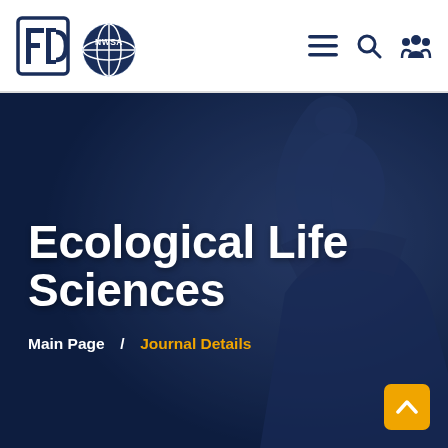[Figure (logo): NWSA organization logo with FD box emblem and globe icon]
Ecological Life Sciences
Main Page  /  Journal Details